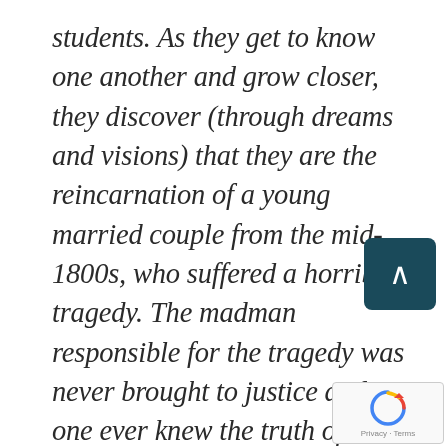students. As they get to know one another and grow closer, they discover (through dreams and visions) that they are the reincarnation of a young married couple from the mid-1800s, who suffered a horrible tragedy. The madman responsible for the tragedy was never brought to justice and no one ever knew the truth of what happened. Layla and Lucas must uncover the truth of their past life order to keep the same tragedy fro...